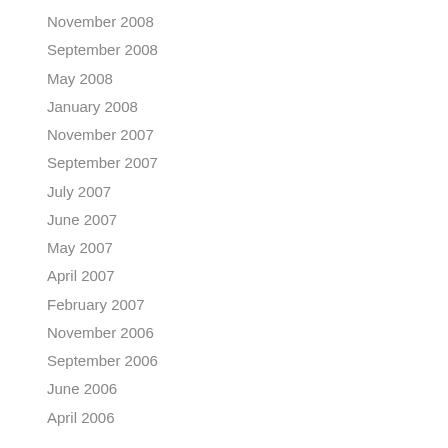November 2008
September 2008
May 2008
January 2008
November 2007
September 2007
July 2007
June 2007
May 2007
April 2007
February 2007
November 2006
September 2006
June 2006
April 2006